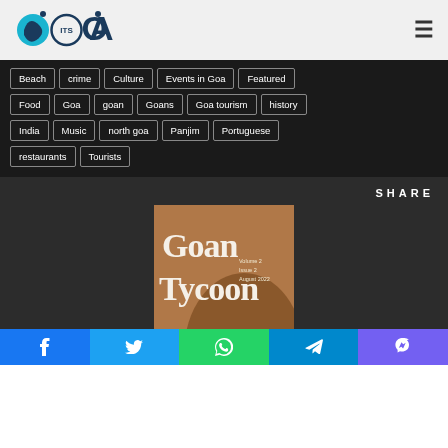ItsGoa logo and navigation
Beach
crime
Culture
Events in Goa
Featured
Food
Goa
goan
Goans
Goa tourism
history
India
Music
north goa
Panjim
Portuguese
restaurants
Tourists
SHARE
[Figure (photo): Cover of Goan Tycoon magazine, Volume 2 Issue 2 August 2022, Navigating the business and startup landscape in Goa]
Facebook, Twitter, WhatsApp, Telegram, Viber social share buttons